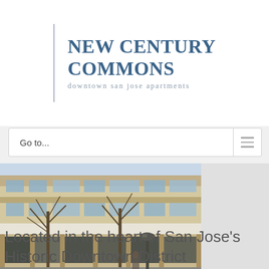NEW CENTURY COMMONS
downtown san jose apartments
Go to...
[Figure (photo): Photograph of a historic multi-story commercial building in downtown San Jose with large windows, ornate stone facade, street-level storefronts, a street lamp, and bare winter trees in the foreground.]
Located in the heart of San Jose’s Historic Downtown District